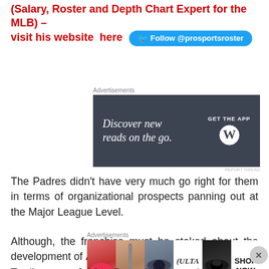(Salary, Roster and Depth Chart Expert for the MLB) – visit his website  here  Follow @prosportsroster
[Figure (infographic): Advertisement banner: 'Discover new reads on the go. GET THE APP' with WordPress logo on dark background]
The Padres didn't have very much go right for them in terms of organizational prospects panning out at the Major League Level.
Although, the franchise must be stoked about the development of Andrew Cashner.
Trading away Adrian Gonzalez was tough enough, and
[Figure (infographic): Advertisement banner for ULTA beauty featuring close-up photos of makeup looks and SHOP NOW text]